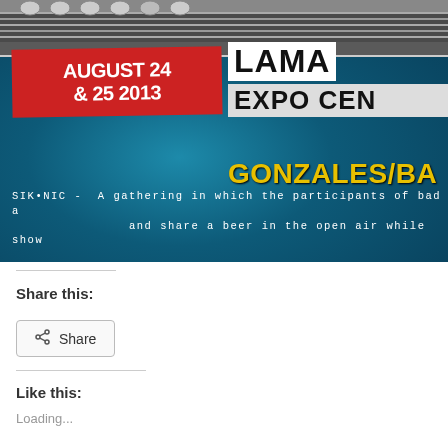[Figure (photo): Event banner for a car/motorcycle show at Lamar Expo Center, Gonzales/Baton Rouge area. Date shown: August 24 & 25 2013. Teal background with custom car/guitar imagery. Text includes 'AUGUST 24 & 25 2013' on red banner, 'LAMA' and 'EXPO CEN' on white/grey banners, 'GONZALES/BA' in yellow, and 'SIK•NIC - A gathering in which the participants of bad a... and share a beer in the open air while show...' at bottom.]
Share this:
Share
Like this:
Loading...